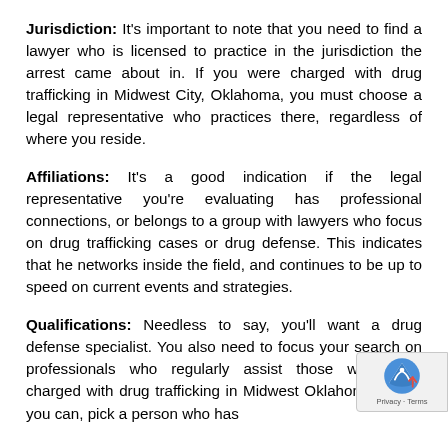Jurisdiction: It's important to note that you need to find a lawyer who is licensed to practice in the jurisdiction the arrest came about in. If you were charged with drug trafficking in Midwest City, Oklahoma, you must choose a legal representative who practices there, regardless of where you reside.
Affiliations: It's a good indication if the legal representative you're evaluating has professional connections, or belongs to a group with lawyers who focus on drug trafficking cases or drug defense. This indicates that he networks inside the field, and continues to be up to speed on current events and strategies.
Qualifications: Needless to say, you'll want a drug defense specialist. You also need to focus your search on professionals who regularly assist those who have charged with drug trafficking in Midwest Oklahoma, and if you can, pick a person who has